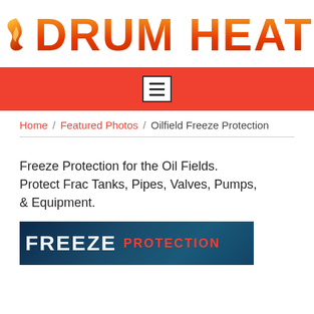[Figure (logo): Drum Heat logo with orange flame icon and bold orange gradient text reading DRUM HEAT]
[Figure (screenshot): Red navigation bar with hamburger menu icon (three horizontal lines) in a white box]
Home / Featured Photos / Oilfield Freeze Protection
Freeze Protection for the Oil Fields. Protect Frac Tanks, Pipes, Valves, Pumps, & Equipment.
[Figure (photo): Partial image showing FREEZE PROTECTION text on dark blue background, partially cut off at bottom of page]